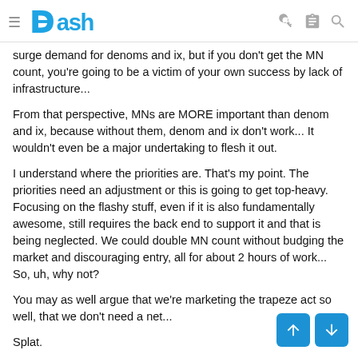Dash
surge demand for denoms and ix, but if you don't get the MN count, you're going to be a victim of your own success by lack of infrastructure...
From that perspective, MNs are MORE important than denom and ix, because without them, denom and ix don't work... It wouldn't even be a major undertaking to flesh it out.
I understand where the priorities are. That's my point. The priorities need an adjustment or this is going to get top-heavy. Focusing on the flashy stuff, even if it is also fundamentally awesome, still requires the back end to support it and that is being neglected. We could double MN count without budging the market and discouraging entry, all for about 2 hours of work... So, uh, why not?
You may as well argue that we're marketing the trapeze act so well, that we don't need a net...
Splat.
I'm even willing to directly fund a priority adjustment. I know you can never afford to make everyone happy. So lets it'll be...